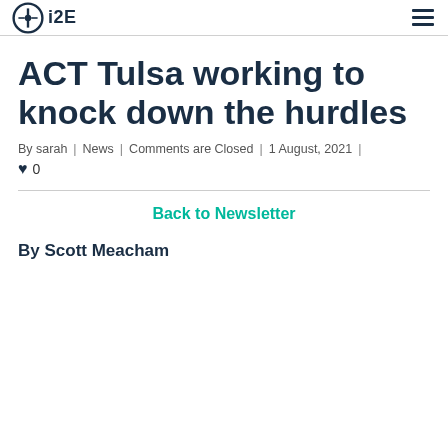i2E
ACT Tulsa working to knock down the hurdles
By sarah | News | Comments are Closed | 1 August, 2021 | ♥ 0
Back to Newsletter
By Scott Meacham